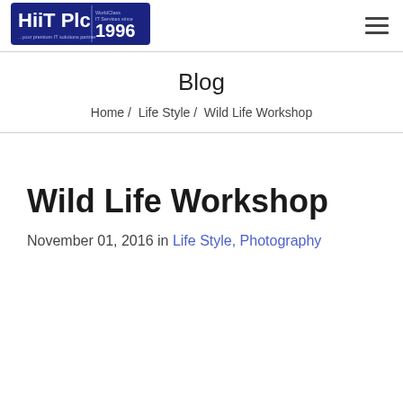[Figure (logo): HiiT Plc logo — dark blue rectangle with 'HiiT Plc', 'WorldClass IT Services since 1996', and '...your premium IT solutions partner']
Blog
Home /  Life Style /  Wild Life Workshop
Wild Life Workshop
November 01, 2016 in Life Style, Photography